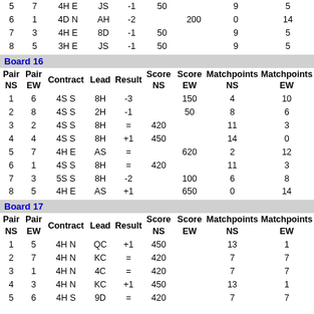| Pair NS | Pair EW | Contract | Lead | Result | Score NS | Score EW | Matchpoints NS | Matchpoints EW |
| --- | --- | --- | --- | --- | --- | --- | --- | --- |
| 5 | 7 | 4H E | JS | -1 | 50 |  | 9 | 5 |
| 6 | 1 | 4D N | AH | -2 |  | 200 | 0 | 14 |
| 7 | 3 | 4H E | 8D | -1 | 50 |  | 9 | 5 |
| 8 | 5 | 3H E | JS | -1 | 50 |  | 9 | 5 |
Board 16
| Pair NS | Pair EW | Contract | Lead | Result | Score NS | Score EW | Matchpoints NS | Matchpoints EW |
| --- | --- | --- | --- | --- | --- | --- | --- | --- |
| 1 | 6 | 4S S | 8H | -3 |  | 150 | 4 | 10 |
| 2 | 8 | 4S S | 2H | -1 |  | 50 | 8 | 6 |
| 3 | 2 | 4S S | 8H | = | 420 |  | 11 | 3 |
| 4 | 4 | 4S S | 8H | +1 | 450 |  | 14 | 0 |
| 5 | 7 | 4H E | AS | = |  | 620 | 2 | 12 |
| 6 | 1 | 4S S | 8H | = | 420 |  | 11 | 3 |
| 7 | 3 | 5S S | 8H | -2 |  | 100 | 6 | 8 |
| 8 | 5 | 4H E | AS | +1 |  | 650 | 0 | 14 |
Board 17
| Pair NS | Pair EW | Contract | Lead | Result | Score NS | Score EW | Matchpoints NS | Matchpoints EW |
| --- | --- | --- | --- | --- | --- | --- | --- | --- |
| 1 | 5 | 4H N | QC | +1 | 450 |  | 13 | 1 |
| 2 | 7 | 4H N | KC | = | 420 |  | 7 | 7 |
| 3 | 1 | 4H N | 4C | = | 420 |  | 7 | 7 |
| 4 | 3 | 4H N | KC | +1 | 450 |  | 13 | 1 |
| 5 | 6 | 4H S | 9D | = | 420 |  | 7 | 7 |